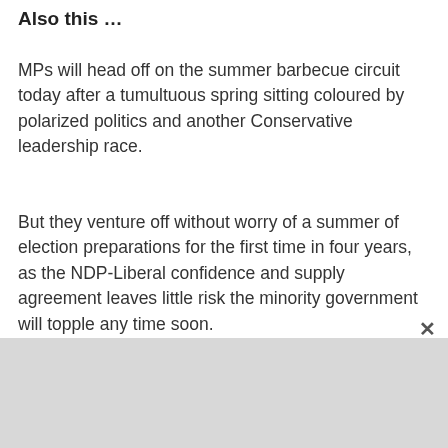Also this …
MPs will head off on the summer barbecue circuit today after a tumultuous spring sitting coloured by polarized politics and another Conservative leadership race.
But they venture off without worry of a summer of election preparations for the first time in four years, as the NDP-Liberal confidence and supply agreement leaves little risk the minority government will topple any time soon.
NDP Leader Jagmeet Singh says things have gone as he hoped ... but he plans to push the government to do